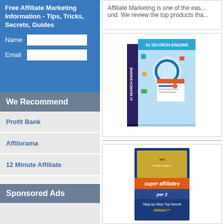Free Affiliate Marketing Information - Tips, Tricks, Secrets, Guides
Affiliate Marketing is one of the eas... und. We review the top products tha...
We Recommend
Profit Bank
Affilorama
12 Minute Affiliate
Sponsored Ads
[Figure (photo): AI Search Engine book/box cover with magnifying glass and search interface graphics on light blue background]
[Figure (photo): Super Affiliates book cover, Step-by-Step Top-Secret Affiliates guide with money imagery]